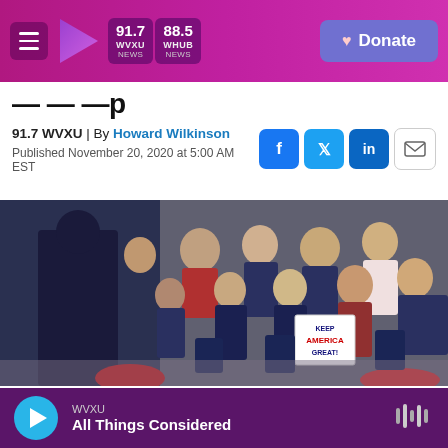91.7 WVXU | 88.5 WHUB NEWS | Donate
Trump
91.7 WVXU | By Howard Wilkinson
Published November 20, 2020 at 5:00 AM EST
[Figure (photo): Photo of a crowd at a Trump rally cheering and applauding, with a 'Keep America Great!' sign visible, and a figure in a dark suit at left with back to camera.]
WVXU
All Things Considered